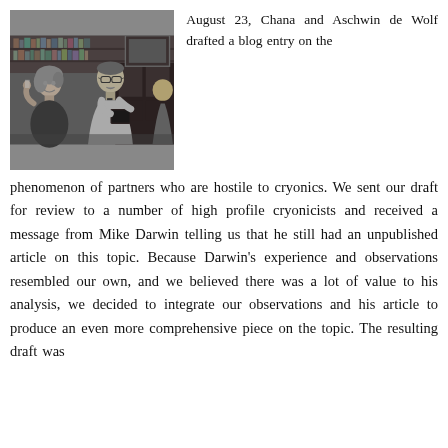[Figure (photo): Black and white photograph of a woman and a man with glasses in what appears to be a library or study, the man holding a book, bookshelves visible in the background.]
August 23, Chana and Aschwin de Wolf drafted a blog entry on the phenomenon of partners who are hostile to cryonics. We sent our draft for review to a number of high profile cryonicists and received a message from Mike Darwin telling us that he still had an unpublished article on this topic. Because Darwin's experience and observations resembled our own, and we believed there was a lot of value to his analysis, we decided to integrate our observations and his article to produce an even more comprehensive piece on the topic. The resulting draft was